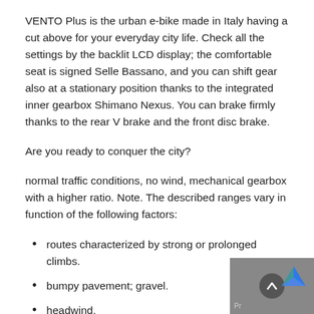VENTO Plus is the urban e-bike made in Italy having a cut above for your everyday city life. Check all the settings by the backlit LCD display; the comfortable seat is signed Selle Bassano, and you can shift gear also at a stationary position thanks to the integrated inner gearbox Shimano Nexus. You can brake firmly thanks to the rear V brake and the front disc brake.
Are you ready to conquer the city?
normal traffic conditions, no wind, mechanical gearbox with a higher ratio. Note. The described ranges vary in function of the following factors:
routes characterized by strong or prolonged climbs.
bumpy pavement; gravel.
headwind.
rider's weight.
outdoor temperature.